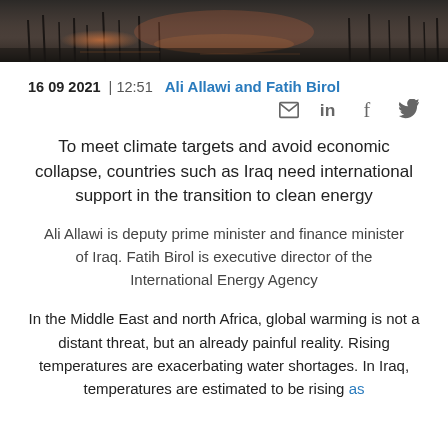[Figure (photo): Dark atmospheric photo strip showing a wetland or marshy landscape at dusk/sunset with silhouetted reeds and orange-pink light reflecting on water]
16 09 2021 | 12:51  Ali Allawi and Fatih Birol
To meet climate targets and avoid economic collapse, countries such as Iraq need international support in the transition to clean energy
Ali Allawi is deputy prime minister and finance minister of Iraq. Fatih Birol is executive director of the International Energy Agency
In the Middle East and north Africa, global warming is not a distant threat, but an already painful reality. Rising temperatures are exacerbating water shortages. In Iraq, temperatures are estimated to be rising as